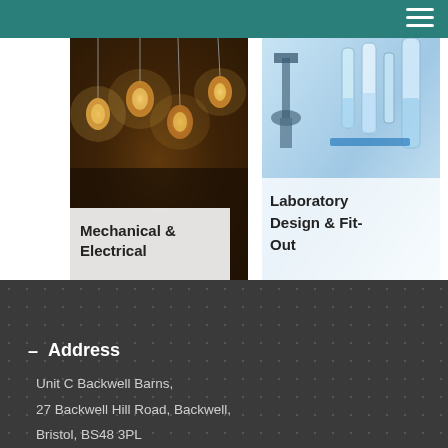[Figure (photo): Mechanical & Electrical service card with photo of hanging Edison/filament bulbs in warm amber light]
[Figure (photo): Laboratory Design & Fit-Out service card with photo of microscope and laboratory glassware in blue-tinted light]
Address
Unit C Backwell Barns,
27 Backwell Hill Road, Backwell,
Bristol, BS48 3PL